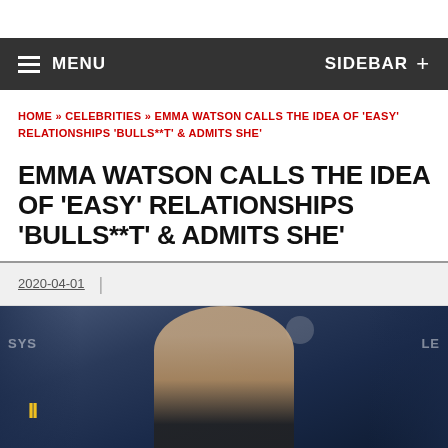MENU   SIDEBAR +
HOME » CELEBRITIES » EMMA WATSON CALLS THE IDEA OF 'EASY' RELATIONSHIPS 'BULLS**T' & ADMITS SHE'
EMMA WATSON CALLS THE IDEA OF 'EASY' RELATIONSHIPS 'BULLS**T' & ADMITS SHE'
2020-04-01
[Figure (photo): Photo of Emma Watson at a red carpet event, wearing a black feathered outfit, with decorative backdrop showing 'Little Women' premiere signage]